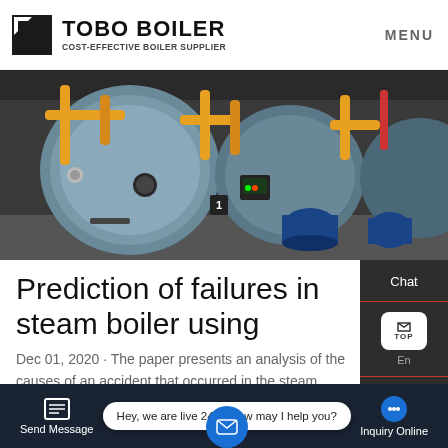[Figure (logo): Tobo Boiler logo with shield/flag icon, company name and tagline]
MENU
[Figure (photo): Industrial steam boilers in a facility with yellow/orange pipes and blue cylindrical tanks]
Prediction of failures in steam boiler using
Dec 01, 2020 · The paper presents an analysis of the causes of an accident that occurred in the steam boiler during operation ... result ... failure of the ...
[Figure (other): Right side panel with Chat, TOP button, En language selector, and Contact options]
[Figure (other): Bottom navigation bar with Send Message, live chat tooltip, and Inquiry Online buttons]